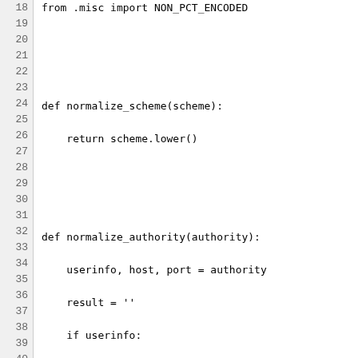Code listing showing Python functions: normalize_scheme, normalize_authority, normalize_path, normalize_query, normalize_fragment. Lines 18-47.